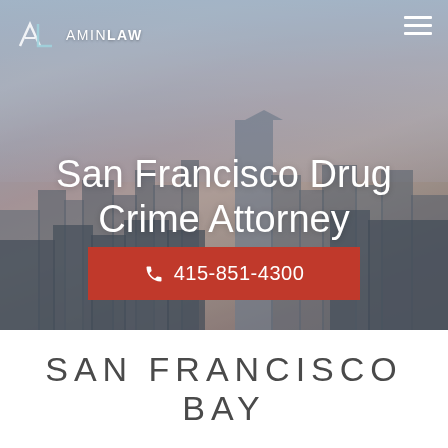[Figure (photo): Aerial view of San Francisco skyline with blue-pink sky and skyscrapers including Salesforce Tower]
San Francisco Drug Crime Attorney
📞 415-851-4300
SAN FRANCISCO BAY